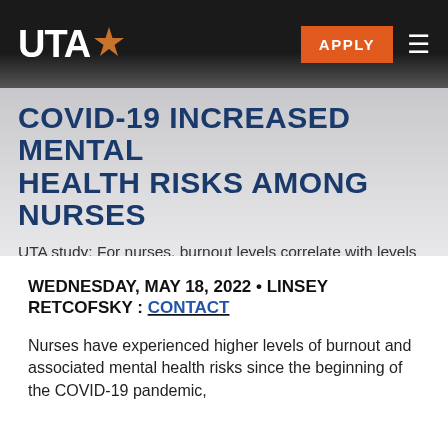UTA | APPLY
COVID-19 INCREASED MENTAL HEALTH RISKS AMONG NURSES
UTA study: For nurses, burnout levels correlate with levels of depression, anger
WEDNESDAY, MAY 18, 2022 • LINSEY RETCOFSKY : CONTACT
Nurses have experienced higher levels of burnout and associated mental health risks since the beginning of the COVID-19 pandemic,